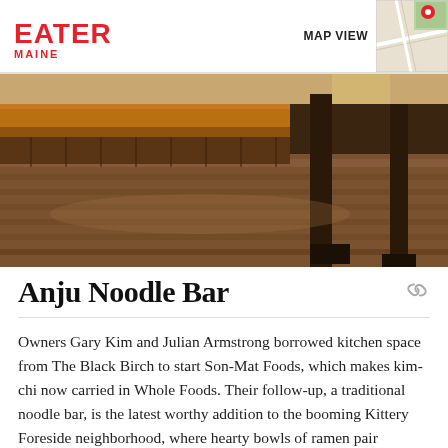EATER MAINE
[Figure (photo): Interior of Anju Noodle Bar showing a wooden bar counter with warm amber lighting underneath, hardwood floors, and dark wooden support columns]
Anju Noodle Bar
Owners Gary Kim and Julian Armstrong borrowed kitchen space from The Black Birch to start Son-Mat Foods, which makes kim-chi now carried in Whole Foods. Their follow-up, a traditional noodle bar, is the latest worthy addition to the booming Kittery Foreside neighborhood, where hearty bowls of ramen pair beautifully with a variety of house-made kim-chi.